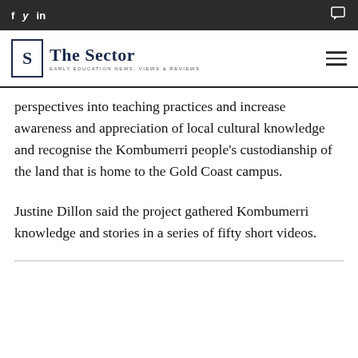The Sector — Early Education News, Views & Reviews
perspectives into teaching practices and increase awareness and appreciation of local cultural knowledge and recognise the Kombumerri people's custodianship of the land that is home to the Gold Coast campus.
Justine Dillon said the project gathered Kombumerri knowledge and stories in a series of fifty short videos.